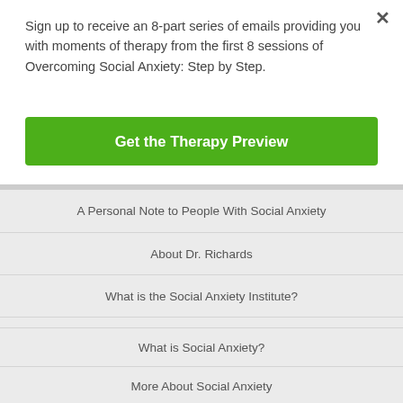Sign up to receive an 8-part series of emails providing you with moments of therapy from the first 8 sessions of Overcoming Social Anxiety: Step by Step.
Get the Therapy Preview
A Personal Note to People With Social Anxiety
About Dr. Richards
What is the Social Anxiety Institute?
ABOUT SOCIAL ANXIETY
What is Social Anxiety?
More About Social Anxiety